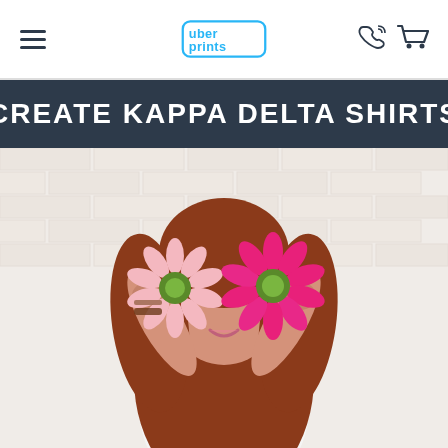uberprints — navigation header with hamburger menu, logo, phone and cart icons
CREATE KAPPA DELTA SHIRTS
[Figure (photo): Young woman with long red wavy hair holding two pink and magenta gerbera daisy flowers over her eyes, wearing a white t-shirt with a 'Kappa Delta Your Event' floral design, posed against a white brick wall background.]